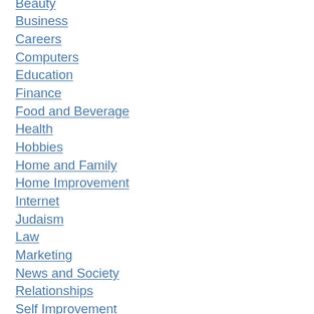Beauty
Business
Careers
Computers
Education
Finance
Food and Beverage
Health
Hobbies
Home and Family
Home Improvement
Internet
Judaism
Law
Marketing
News and Society
Relationships
Self Improvement
Shopping
Spirituality
Sports and Fitness